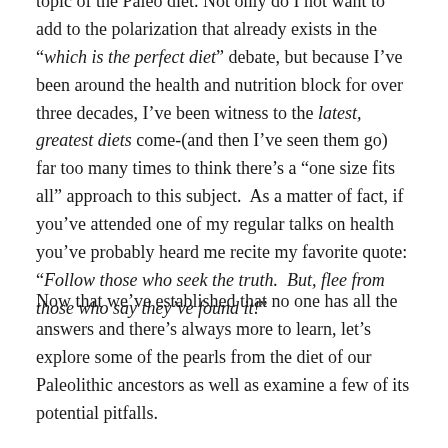topic of the Paleo diet. Not only do I not want to add to the polarization that already exists in the “which is the perfect diet” debate, but because I’ve been around the health and nutrition block for over three decades, I’ve been witness to the latest, greatest diets come-(and then I’ve seen them go) far too many times to think there’s a “one size fits all” approach to this subject.  As a matter of fact, if you’ve attended one of my regular talks on health you’ve probably heard me recite my favorite quote: “Follow those who seek the truth.  But, flee from those who say they’ve found it!”
Now that we’ve established that no one has all the answers and there’s always more to learn, let’s explore some of the pearls from the diet of our Paleolithic ancestors as well as examine a few of its potential pitfalls.